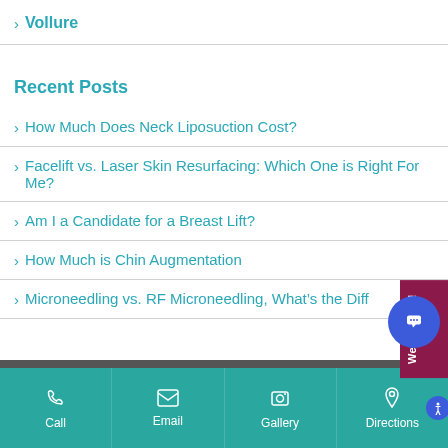> Vollure
Recent Posts
> How Much Does Neck Liposuction Cost?
> Facelift vs. Laser Skin Resurfacing: Which One is Right For Me?
> Am I a Candidate for a Breast Lift?
> How Much is Chin Augmentation
> Microneedling vs. RF Microneedling, What’s the Diff
Call | Email | Gallery | Directions